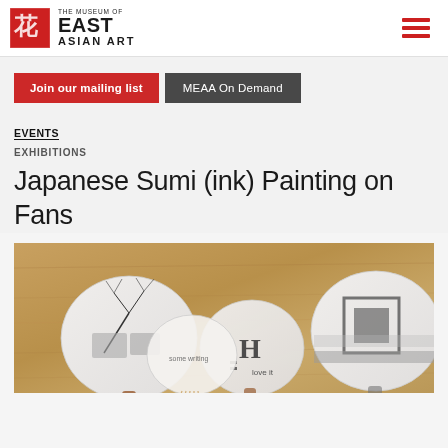[Figure (logo): The Museum of East Asian Art logo with red decorative square icon and text]
Join our mailing list
MEAA On Demand
EVENTS
EXHIBITIONS
Japanese Sumi (ink) Painting on Fans
[Figure (photo): Photograph of several Japanese uchiwa (round) fans with sumi ink paintings on a wooden surface]